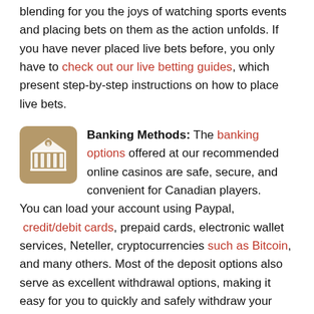blending for you the joys of watching sports events and placing bets on them as the action unfolds. If you have never placed live bets before, you only have to check out our live betting guides, which present step-by-step instructions on how to place live bets.
Banking Methods: The banking options offered at our recommended online casinos are safe, secure, and convenient for Canadian players. You can load your account using Paypal, credit/debit cards, prepaid cards, electronic wallet services, Neteller, cryptocurrencies such as Bitcoin, and many others. Most of the deposit options also serve as excellent withdrawal options, making it easy for you to quickly and safely withdraw your winnings.
Is Online Sports Betting Legal in Canada?
[Figure (photo): Bottom strip of a photo, partially visible at the bottom of the page]